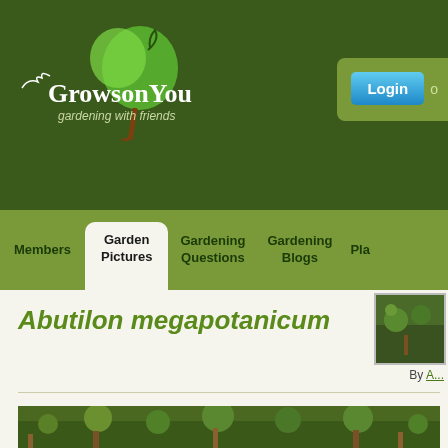[Figure (logo): GrowsOnYou website logo with tree illustration and text 'GrowsOnYou gardening with friends']
[Figure (screenshot): Login button in blue with light green container panel on the right side of the header]
Members | Garden Pictures | Gardening Questions | Gardening Blogs | Pla...
Abutilon megapotanicum
By A...
[Figure (photo): Thumbnail photo of Abutilon megapotanicum plant in garden setting]
[Figure (photo): Main large photo of Abutilon megapotanicum plant in garden]